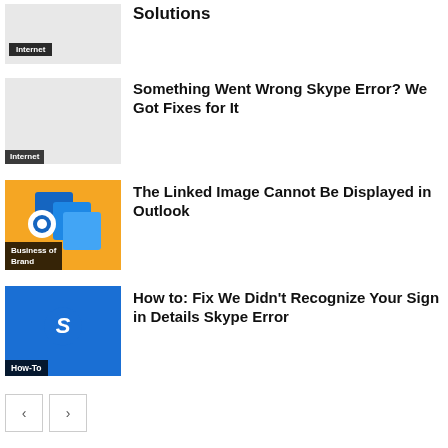Solutions
Internet
Something Went Wrong Skype Error? We Got Fixes for It
Internet
[Figure (illustration): Outlook icon on orange background with Business of Brand tag]
The Linked Image Cannot Be Displayed in Outlook
[Figure (illustration): Skype S logo on blue background with How-To tag]
How to: Fix We Didn't Recognize Your Sign in Details Skype Error
LEAVE A REPLY